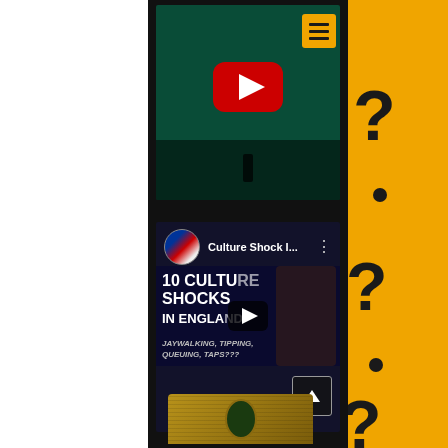[Figure (screenshot): Screenshot of a mobile phone or tablet showing YouTube-style interface with two video thumbnails. Top video shows a dark greenish stage/theater scene with a large red YouTube play button. An orange hamburger menu button is visible in the top right of the screen. Below is a second video card showing 'Culture Shock I...' with channel avatar (UK flag themed), title text '10 CULTURE SHOCKS IN ENGLAND' with subtitle 'JAYWALKING, TIPPING, QUEUING, TAPS???' and a smaller play button. A scroll-to-top arrow button is visible bottom right. A dollar bill image appears at the very bottom. The phone screen is set against an orange background with large black question marks on the right side.]